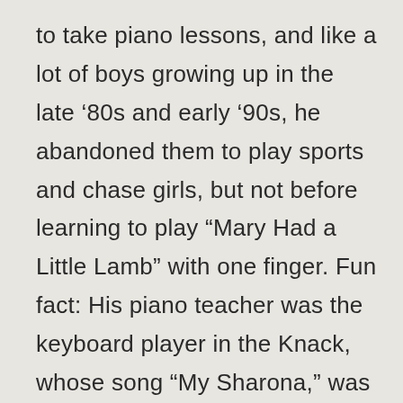to take piano lessons, and like a lot of boys growing up in the late ‘80s and early ’90s, he abandoned them to play sports and chase girls, but not before learning to play “Mary Had a Little Lamb” with one finger. Fun fact: His piano teacher was the keyboard player in the Knack, whose song “My Sharona,” was No. 1 on Billboard’s Hot 100 year-end chart in 1979.